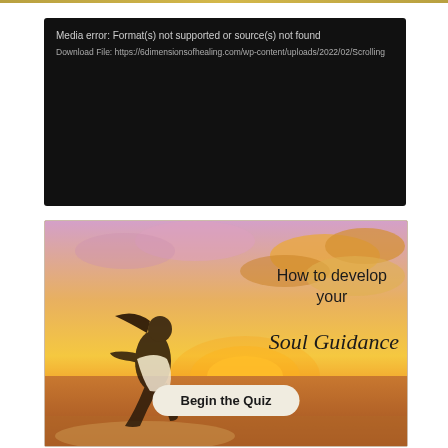[Figure (screenshot): Media error box with black background showing: 'Media error: Format(s) not supported or source(s) not found' and 'Download File: https://6dimensionsofhealing.com/wp-content/uploads/2022/02/Scrolling...']
[Figure (photo): Advertisement banner with sunset beach background, woman jumping in white dress, text 'How to develop your Soul Guidance' with 'Begin the Quiz' button]